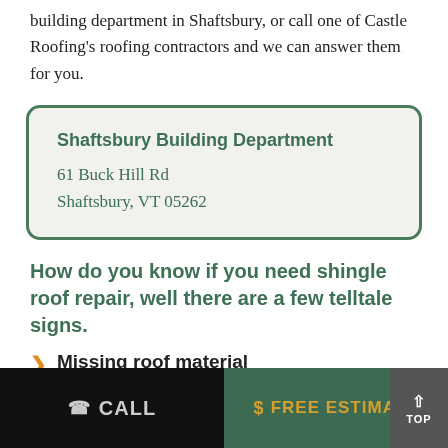building department in Shaftsbury, or call one of Castle Roofing's roofing contractors and we can answer them for you.
Shaftsbury Building Department
61 Buck Hill Rd
Shaftsbury, VT 05262
How do you know if you need shingle roof repair, well there are a few telltale signs.
Missing roof material
CALL   $ FREE ESTIMATE   TOP